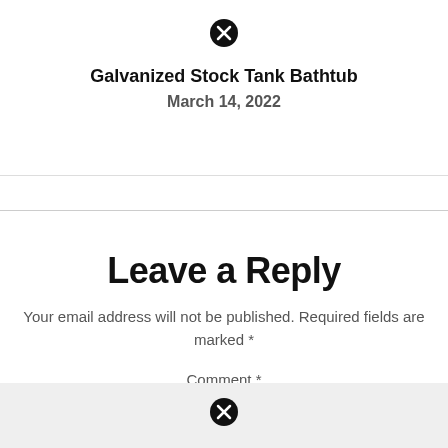[Figure (other): Close/cancel icon (circled X) at top center]
Galvanized Stock Tank Bathtub
March 14, 2022
Leave a Reply
Your email address will not be published. Required fields are marked *
Comment *
[Figure (other): Close/cancel icon (circled X) inside comment box]